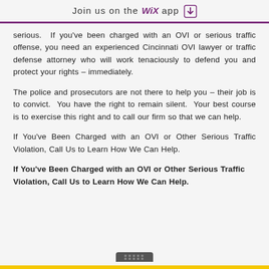Join us on the WiX app
serious.  If you've been charged with an OVI or serious traffic offense, you need an experienced Cincinnati OVI lawyer or traffic defense attorney who will work tenaciously to defend you and protect your rights – immediately.
The police and prosecutors are not there to help you – their job is to convict.  You have the right to remain silent.  Your best course is to exercise this right and to call our firm so that we can help.
If You've Been Charged with an OVI or Other Serious Traffic Violation, Call Us to Learn How We Can Help.
If You've Been Charged with an OVI or Other Serious Traffic Violation, Call Us to Learn How We Can Help.